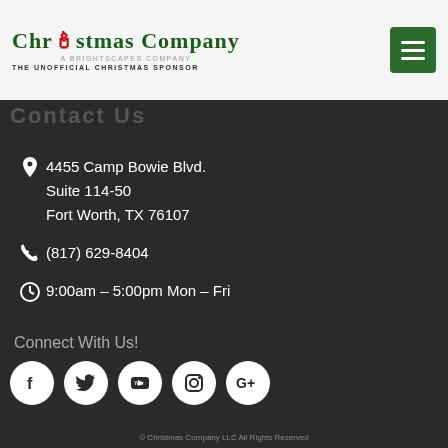Christmas Company — A Brightscapes Company — The Unofficial Christmas Sponsor
Contact Us
4455 Camp Bowie Blvd.
Suite 114-50
Fort Worth, TX 76107
(817) 629-8404
9:00am – 5:00pm Mon – Fri
Connect With Us!
[Figure (infographic): Five social media icon circles: Facebook, Twitter, YouTube, Instagram, Google+]
© Christmas Company LLC All Rights Reserved